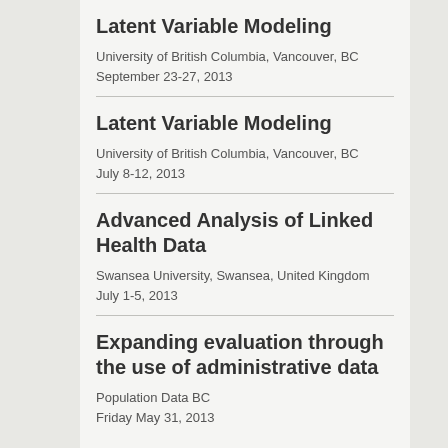Latent Variable Modeling
University of British Columbia, Vancouver, BC
September 23-27, 2013
Latent Variable Modeling
University of British Columbia, Vancouver, BC
July 8-12, 2013
Advanced Analysis of Linked Health Data
Swansea University, Swansea, United Kingdom
July 1-5, 2013
Expanding evaluation through the use of administrative data
Population Data BC
Friday May 31, 2013